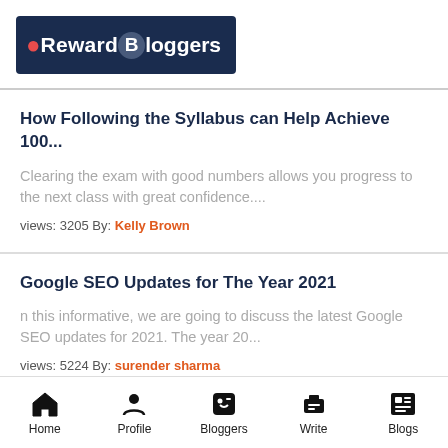Reward Bloggers
How Following the Syllabus can Help Achieve 100...
Clearing the exam with good numbers allows you progress to the next class with great confidence....
views: 3205 By: Kelly Brown
Google SEO Updates for The Year 2021
n this informative, we are going to discuss the latest Google SEO updates for 2021. The year 20...
views: 5224 By: surender sharma
Home  Profile  Bloggers  Write  Blogs